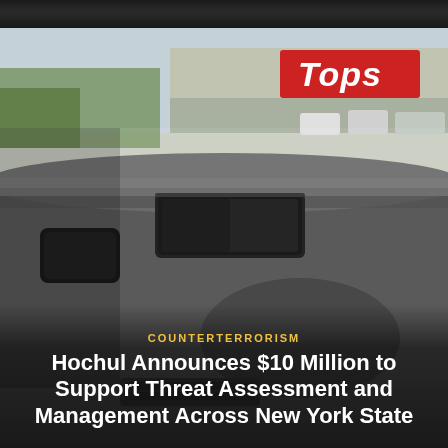[Figure (photo): Dashboard-level view from inside a vehicle approaching a Tops grocery store parking lot. The rearview mirror is visible in the center. The Tops store sign is visible in the upper right through the windshield. The scene appears to be surveillance or body-camera footage.]
COUNTERTERRORISM
Hochul Announces $10 Million to Support Threat Assessment and Management Across New York State